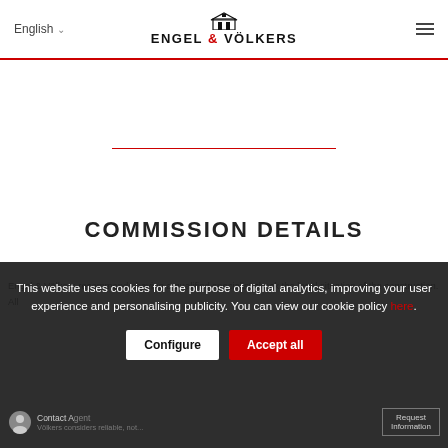English — ENGEL & VÖLKERS
[Figure (logo): Engel & Völkers logo with building icon and brand name]
COMMISSION DETAILS
This website uses cookies for the purpose of digital analytics, improving your user experience and personalising publicity. You can view our cookie policy here.
Engel & Völkers recommends having a qualified specialist check the legal situation of the construction. All information is considered reliable, not...
Contact Agent — Request Information